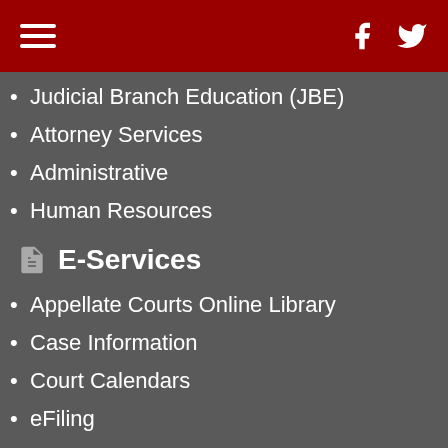Navigation header with hamburger menu, Facebook and Twitter icons
Judicial Branch Education (JBE)
Attorney Services
Administrative
Human Resources
E-Services
Appellate Courts Online Library
Case Information
Court Calendars
eFiling
ePayments
Self-Help
Legal Resources & Information
Appeals